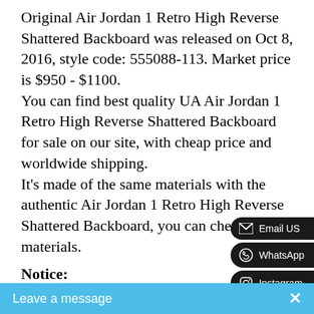Original Air Jordan 1 Retro High Reverse Shattered Backboard was released on Oct 8, 2016, style code: 555088-113. Market price is $950 - $1100. You can find best quality UA Air Jordan 1 Retro High Reverse Shattered Backboard for sale on our site, with cheap price and worldwide shipping. It's made of the same materials with the authentic Air Jordan 1 Retro High Reverse Shattered Backboard, you can check the materials.
Notice:
Our items are 1:1 best quality, made of same materials with authentic items. The pictures on our sites are real photos of samples in our warehouses, that taken by ourselves. Due to the of light and background, they might look a little different from what they really do in the